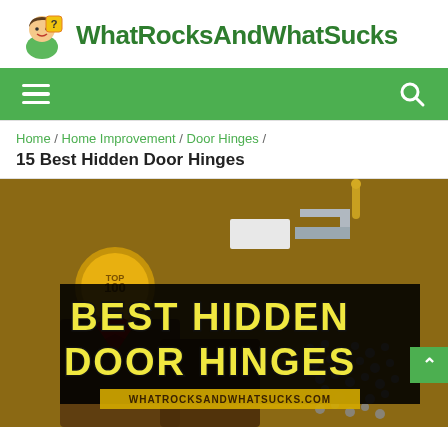WhatRocksAndWhatSucks
Home / Home Improvement / Door Hinges /
15 Best Hidden Door Hinges
[Figure (photo): Best Hidden Door Hinges promotional image with decorative text overlay reading BEST HIDDEN DOOR HINGES and website URL whatrocksandwhatsucks.com, showing door hinge hardware components and screws in the background]